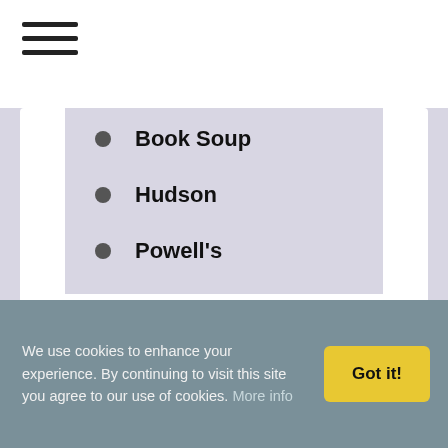Navigation menu (hamburger icon)
Book Soup
Hudson
Powell's
Featured on:
We use cookies to enhance your experience. By continuing to visit this site you agree to our use of cookies. More info